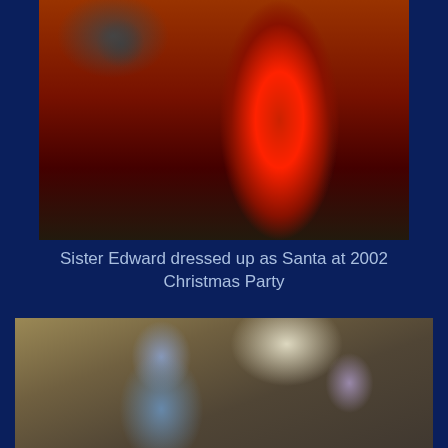[Figure (photo): Person dressed in red sequined Santa costume at a 2002 Christmas Party, partial view showing torso and legs, with drum kit and wooden floor visible in background]
Sister Edward dressed up as Santa at 2002 Christmas Party
[Figure (photo): Group of people gathered around a table in what appears to be an office or library, bending over to look at something together, with bookshelves and air conditioning unit visible in background]